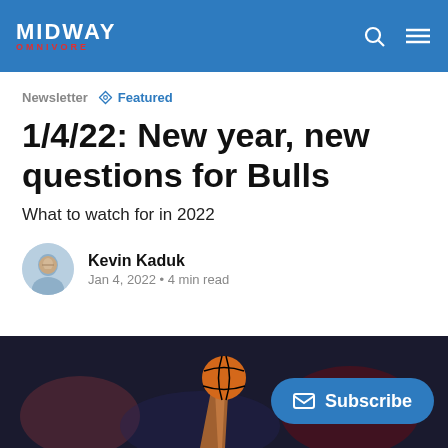MIDWAY | Omnivore
Newsletter  Featured
1/4/22: New year, new questions for Bulls
What to watch for in 2022
Kevin Kaduk
Jan 4, 2022 • 4 min read
[Figure (photo): Basketball player holding ball up, blurred crowd in background]
Subscribe